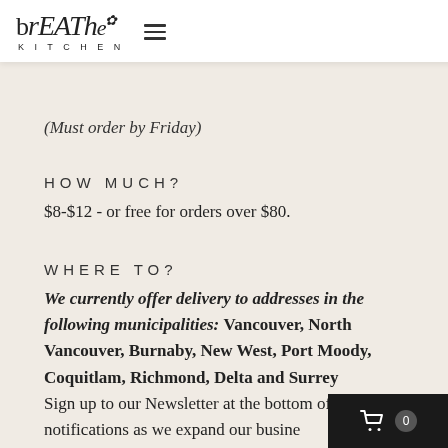[Figure (logo): breathe KITCHEN logo with stylized handwritten text and hamburger menu icon]
(Must order by Friday)
HOW MUCH?
$8-$12 - or free for orders over $80.
WHERE TO?
We currently offer delivery to addresses in the following municipalities: Vancouver, North Vancouver, Burnaby, New West, Port Moody, Coquitlam, Richmond, Delta and Surrey
Sign up to our Newsletter at the bottom of to get notifications as we expand our busine